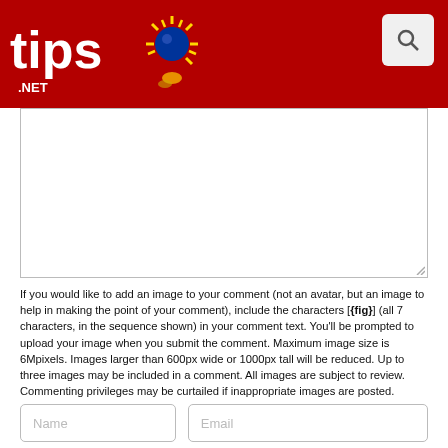tips.NET
[Figure (screenshot): Comment text area input field, partially visible at top]
If you would like to add an image to your comment (not an avatar, but an image to help in making the point of your comment), include the characters [{fig}] (all 7 characters, in the sequence shown) in your comment text. You'll be prompted to upload your image when you submit the comment. Maximum image size is 6Mpixels. Images larger than 600px wide or 1000px tall will be reduced. Up to three images may be included in a comment. All images are subject to review. Commenting privileges may be curtailed if inappropriate images are posted.
[Figure (screenshot): Name input field and Email input field side by side]
[Figure (screenshot): Notify me checkboxes and CAPTCHA question: What is six more than 2?]